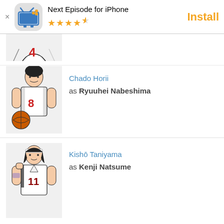[Figure (screenshot): App store banner ad for Next Episode for iPhone with 4.5 star rating and Install button]
[Figure (illustration): Partial anime character in white jersey with number 4, cropped]
Chado Horii as Ryuuhei Nabeshima
[Figure (illustration): Anime character Chado Horii in white jersey number 8 holding basketball]
Kishō Taniyama as Kenji Natsume
[Figure (illustration): Anime character Kishō Taniyama in white jersey number 11 with headband]